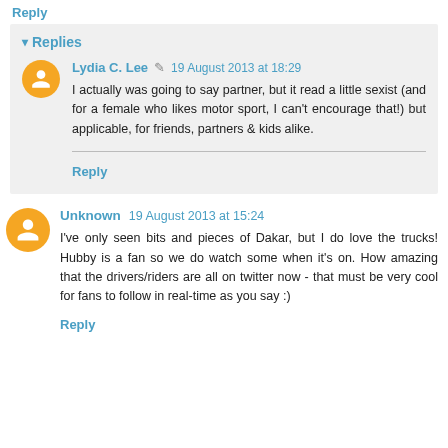Reply
▾ Replies
Lydia C. Lee ✎ 19 August 2013 at 18:29
I actually was going to say partner, but it read a little sexist (and for a female who likes motor sport, I can't encourage that!) but applicable, for friends, partners & kids alike.
Reply
Unknown 19 August 2013 at 15:24
I've only seen bits and pieces of Dakar, but I do love the trucks! Hubby is a fan so we do watch some when it's on. How amazing that the drivers/riders are all on twitter now - that must be very cool for fans to follow in real-time as you say :)
Reply